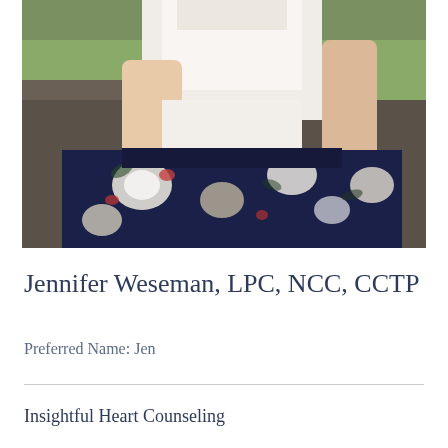[Figure (photo): Outdoor photo of a woman in a white lace top and navy blue floral skirt, seated or crouching, with greenery in the background. Only the torso and lower body are visible.]
Jennifer Weseman, LPC, NCC, CCTP
Preferred Name: Jen
Insightful Heart Counseling